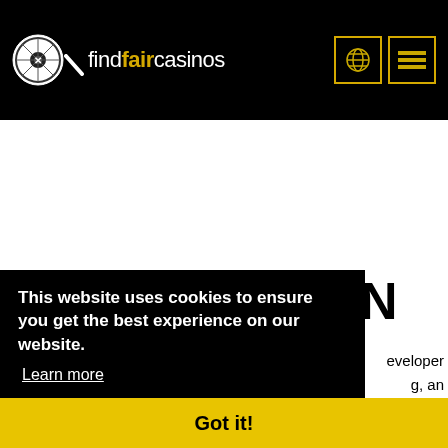findfaircasinos
[Figure (screenshot): White empty content area]
N
This website uses cookies to ensure you get the best experience on our website. Learn more
eveloper g, an d in Malta.
Got it!